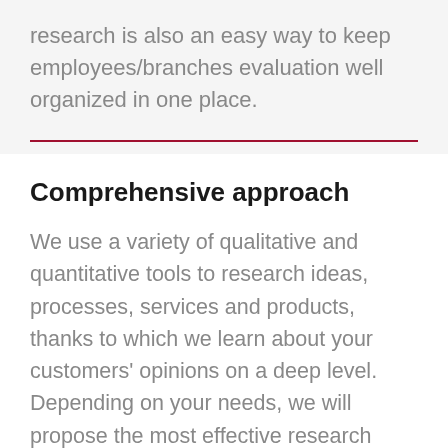research is also an easy way to keep employees/branches evaluation well organized in one place.
Comprehensive approach
We use a variety of qualitative and quantitative tools to research ideas, processes, services and products, thanks to which we learn about your customers' opinions on a deep level. Depending on your needs, we will propose the most effective research tools and methods as well as methods of processing the Mystery Shopping/POS and store check research